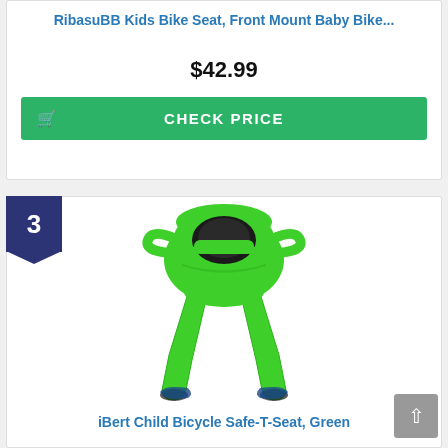RibasuBB Kids Bike Seat, Front Mount Baby Bike...
$42.99
CHECK PRICE
3
[Figure (photo): Green iBert Child Bicycle Safe-T-Seat with black harness and leg rests, viewed at an angle]
iBert Child Bicycle Safe-T-Seat, Green